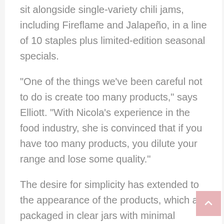sit alongside single-variety chili jams, including Fireflame and Jalapeño, in a line of 10 staples plus limited-edition seasonal specials.
“One of the things we’ve been careful not to do is create too many products,” says Elliott. “With Nicola’s experience in the food industry, she is convinced that if you have too many products, you dilute your range and lose some quality.”
The desire for simplicity has extended to the appearance of the products, which are packaged in clear jars with minimal branding.
“A clean, contemporary look has always been the goal,” adds Elliott. “We really wanted to highlight the fruit or the pepper that was in